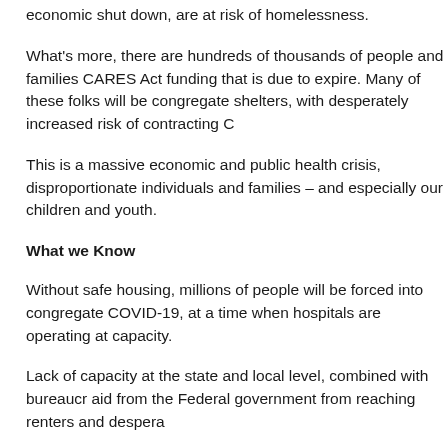economic shut down, are at risk of homelessness.
What's more, there are hundreds of thousands of people and families CARES Act funding that is due to expire. Many of these folks will be congregate shelters, with desperately increased risk of contracting C
This is a massive economic and public health crisis, disproportionate individuals and families – and especially our children and youth.
What we Know
Without safe housing, millions of people will be forced into congregate COVID-19, at a time when hospitals are operating at capacity.
Lack of capacity at the state and local level, combined with bureaucr aid from the Federal government from reaching renters and despera
Even though it is illegal, there is the danger that families forced back their children. Studies have shown overwhelmingly that safe housing achievement than any other single factor.
People who are unhoused face targeted enforcement and criminaliza criminalization separates families, eliminates employment options an physical health of those affected.